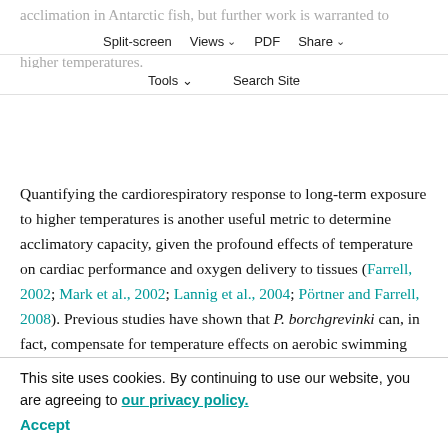acclimation in Antarctic fish, but further work is warranted to distinguish compensatory versus pathophysiological effects of higher temperatures.
Split-screen | Views | PDF | Share | Tools | Search Site
Quantifying the cardiorespiratory response to long-term exposure to higher temperatures is another useful metric to determine acclimatory capacity, given the profound effects of temperature on cardiac performance and oxygen delivery to tissues (Farrell, 2002; Mark et al., 2002; Lannig et al., 2004; Pörtner and Farrell, 2008). Previous studies have shown that P. borchgrevinki can, in fact, compensate for temperature effects on aerobic swimming performance, factorial cardiac scope, and overall cardiac contractile machinery following long-term exposure to 4°C (Seebacher et al., 2005; Franklin et al., 2007). This species also demonstrated a capacity to alter oxygen consumption and ventilation rates with warm acclimation, potentially
This site uses cookies. By continuing to use our website, you are agreeing to our privacy policy. Accept